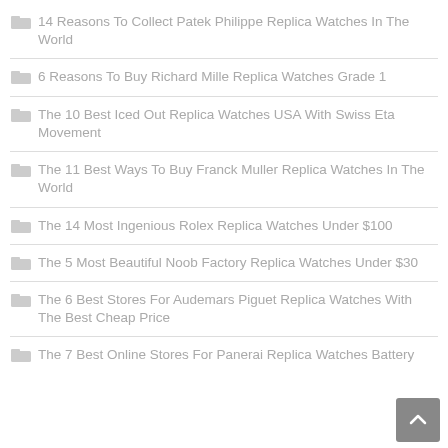14 Reasons To Collect Patek Philippe Replica Watches In The World
6 Reasons To Buy Richard Mille Replica Watches Grade 1
The 10 Best Iced Out Replica Watches USA With Swiss Eta Movement
The 11 Best Ways To Buy Franck Muller Replica Watches In The World
The 14 Most Ingenious Rolex Replica Watches Under $100
The 5 Most Beautiful Noob Factory Replica Watches Under $30
The 6 Best Stores For Audemars Piguet Replica Watches With The Best Cheap Price
The 7 Best Online Stores For Panerai Replica Watches Battery